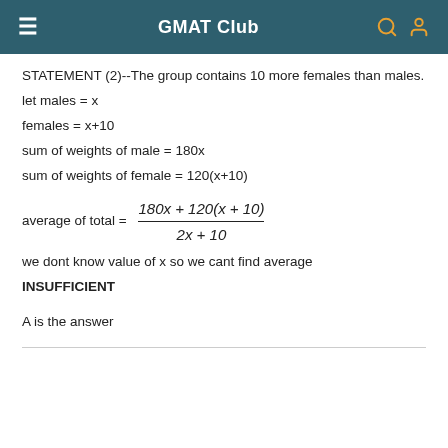GMAT Club
STATEMENT (2)--The group contains 10 more females than males.
let males = x
females = x+10
sum of weights of male = 180x
sum of weights of female = 120(x+10)
we dont know value of x so we cant find average
INSUFFICIENT
A is the answer